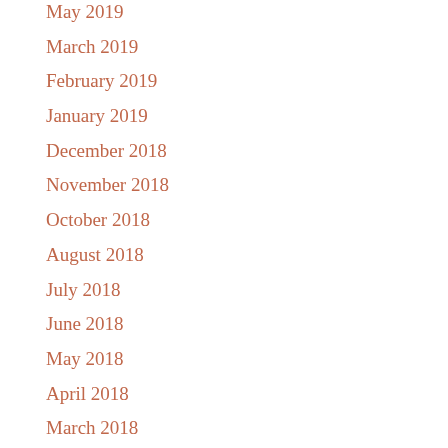May 2019
March 2019
February 2019
January 2019
December 2018
November 2018
October 2018
August 2018
July 2018
June 2018
May 2018
April 2018
March 2018
February 2018
January 2018
December 2017
November 2017